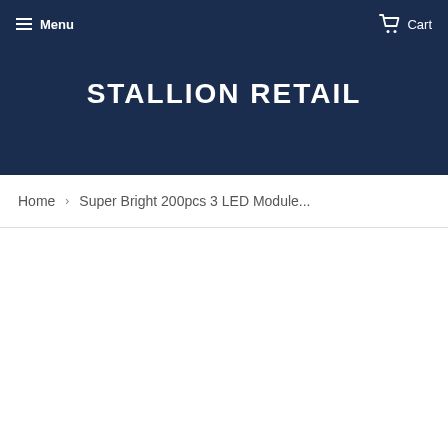Menu  Cart
STALLION RETAIL
Home › Super Bright 200pcs 3 LED Module...